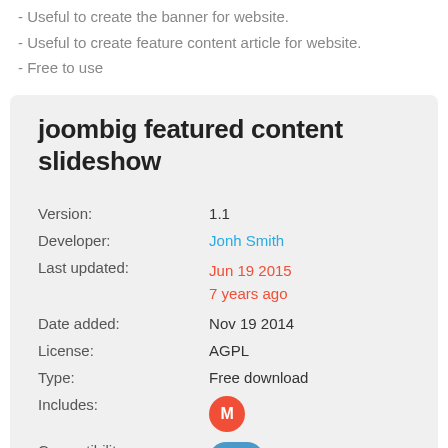- Useful to create the banner for website.
- Useful to create feature content article for website.
- Free to use
joombig featured content slideshow
| Field | Value |
| --- | --- |
| Version: | 1.1 |
| Developer: | Jonh Smith |
| Last updated: | Jun 19 2015
7 years ago |
| Date added: | Nov 19 2014 |
| License: | AGPL |
| Type: | Free download |
| Includes: | M |
| Compatibility: | 13 |